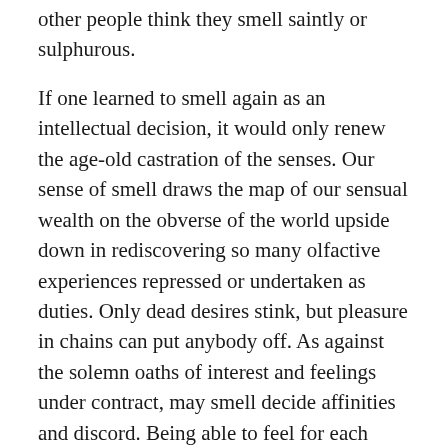other people think they smell saintly or sulphurous.
If one learned to smell again as an intellectual decision, it would only renew the age-old castration of the senses. Our sense of smell draws the map of our sensual wealth on the obverse of the world upside down in rediscovering so many olfactive experiences repressed or undertaken as duties. Only dead desires stink, but pleasure in chains can put anybody off. As against the solemn oaths of interest and feelings under contract, may smell decide affinities and discord. Being able to feel for each other and feel at ease with each other will set up the variable atmospherics of situations even in the assemblies of universal self-management which are the social expression of our desires.
There is no love where exchange and constraint rule